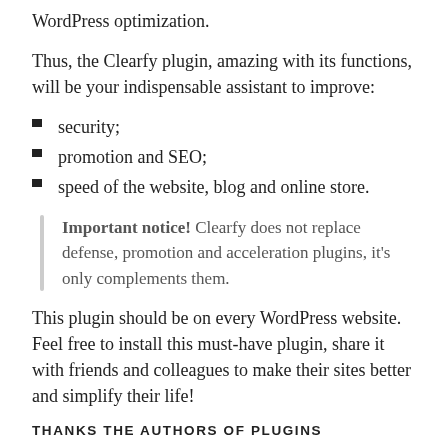WordPress optimization.
Thus, the Clearfy plugin, amazing with its functions, will be your indispensable assistant to improve:
security;
promotion and SEO;
speed of the website, blog and online store.
Important notice! Clearfy does not replace defense, promotion and acceleration plugins, it's only complements them.
This plugin should be on every WordPress website. Feel free to install this must-have plugin, share it with friends and colleagues to make their sites better and simplify their life!
THANKS THE AUTHORS OF PLUGINS